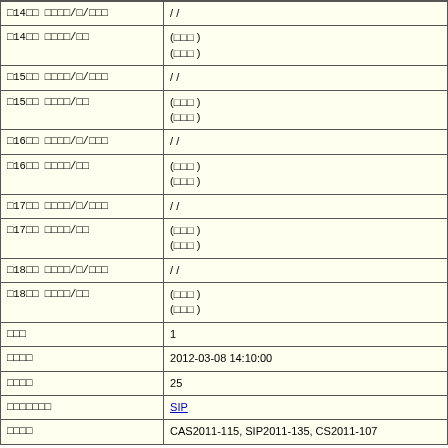| □14□□ □□□□/□/□□□ | / / |
| □14□□ □□□□/□□ | (□□□ )
(□□□ ) |
| □15□□ □□□□/□/□□□ | / / |
| □15□□ □□□□/□□ | (□□□ )
(□□□ ) |
| □16□□ □□□□/□/□□□ | / / |
| □16□□ □□□□/□□ | (□□□ )
(□□□ ) |
| □17□□ □□□□/□/□□□ | / / |
| □17□□ □□□□/□□ | (□□□ )
(□□□ ) |
| □18□□ □□□□/□/□□□ | / / |
| □18□□ □□□□/□□ | (□□□ )
(□□□ ) |
| □□□ | 1 |
| □□□□ | 2012-03-08 14:10:00 |
| □□□□ | 25 |
| □□□□□□□ | SIP |
| □□□□ | CAS2011-115, SIP2011-135, CS2011-107 |